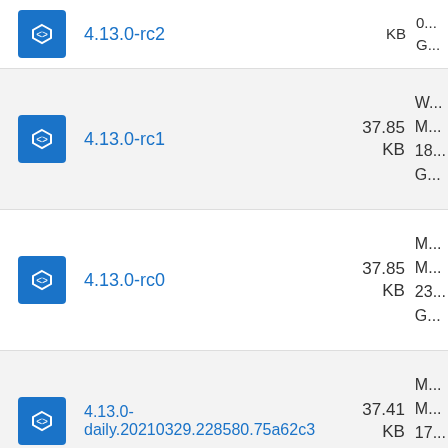4.13.0-rc2  37.85 KB  0... G...
4.13.0-rc1  37.85 KB  W... M... 18... G...
4.13.0-rc0  37.85 KB  M... M... 23... G...
4.13.0-daily.20210329.228580.75a62c3  37.41 KB  M... M... 17... G...
Sa...